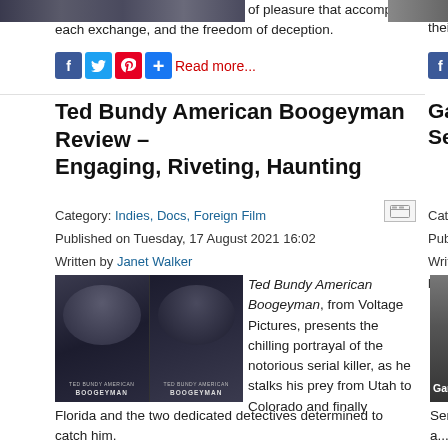[Figure (photo): Top strip image of a building/crowd scene, cropped]
of pleasure that accompanies each exchange, and the freedom of deception.
[Figure (photo): Top right partial photo]
their fa...
Facebook, Twitter, Pinterest, Share social icons and Read more... link (left column top)
Facebook, Twitter social icons (right column top, cropped)
Ted Bundy American Boogeyman Review – Engaging, Riveting, Haunting
Game... Senti... (right column, cropped)
Category: Indies, Docs, Foreign Film
Published on Tuesday, 17 August 2021 16:02
Written by Janet Walker
Category: ...
Published ...
Written by...
[Figure (photo): Movie poster for Ted Bundy American Boogeyman showing two side-by-side images of actor portraying Ted Bundy]
Ted Bundy American Boogeyman, from Voltage Pictures, presents the chilling portrayal of the notorious serial killer, as he stalks his prey from Utah to Colorado and finally Florida and the two dedicated detectives determined to catch him.
[Figure (photo): Right column partial movie image with Game... text overlay]
Series a... team.
Facebook, Twitter, Pinterest, Share social icons and Read more... link (left column bottom)
Facebook, Twitter social icons (right column bottom, cropped)
The Lost Leonardo Review – Intriguing, A
Mater... (right column, cropped)